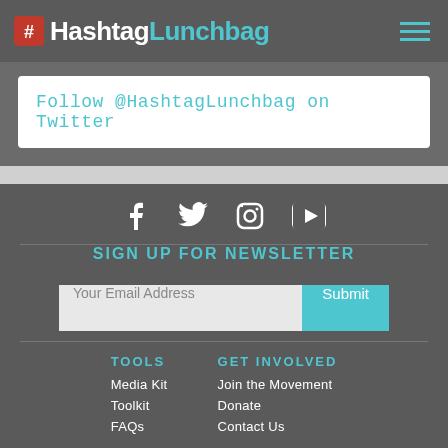HashtagLunchbag
Follow @HashtagLunchbag on Twitter
[Figure (infographic): Social media icons: Facebook, Twitter, Instagram, YouTube]
Sign Up For Newsletter
Your Email Address  Submit
Tools
Media Kit
Toolkit
FAQs
Get Involved
Join the Movement
Donate
Contact Us